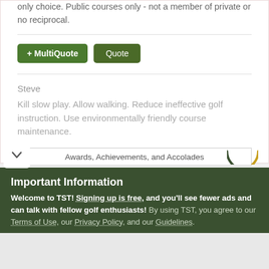only choice. Public courses only - not a member of private or no reciprocal.
+ MultiQuote  Quote
Steve
Kill slow play. Allow walking. Reduce ineffective golf instruction. Use environmentally friendly course maintenance.
Awards, Achievements, and Accolades
Important Information
Welcome to TST! Signing up is free, and you'll see fewer ads and can talk with fellow golf enthusiasts! By using TST, you agree to our Terms of Use, our Privacy Policy, and our Guidelines.